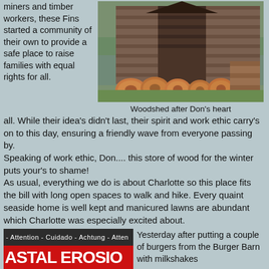miners and timber workers, these Fins started a community of their own to provide a safe place to raise families with equal rights for all.  While their idea's didn't last, their spirit and work ethic carry's on to this day, ensuring a friendly wave from everyone passing by.
[Figure (photo): Photo of a wooden woodshed with stacked firewood logs in front, set against trees and a lake in the background.]
Woodshed after Don's heart
Speaking of work ethic, Don....  this store of wood for the winter puts your's to shame!
As usual, everything we do is about Charlotte so this place fits the bill with long open spaces to walk and hike.  Every quaint seaside home is well kept and manicured lawns are abundant which Charlotte was especially excited about.
[Figure (photo): Warning sign reading 'Attention - Cuidado - Achtung - Atten...' at top, large red letters 'ASTAL EROSIO' (Coastal Erosion), and bottom text 'e of Unstable Trail and'.]
Yesterday after putting a couple of burgers from the Burger Barn with milkshakes